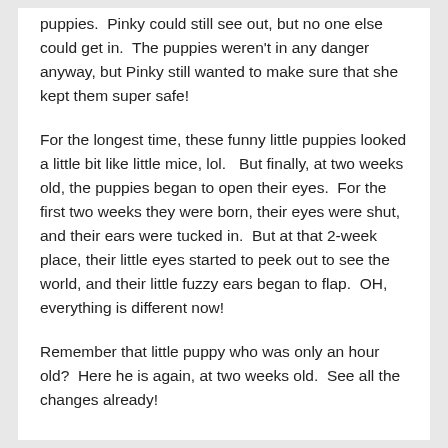puppies.  Pinky could still see out, but no one else could get in.  The puppies weren't in any danger anyway, but Pinky still wanted to make sure that she kept them super safe!
For the longest time, these funny little puppies looked a little bit like little mice, lol.   But finally, at two weeks old, the puppies began to open their eyes.  For the first two weeks they were born, their eyes were shut, and their ears were tucked in.  But at that 2-week place, their little eyes started to peek out to see the world, and their little fuzzy ears began to flap.  OH, everything is different now!
Remember that little puppy who was only an hour old?  Here he is again, at two weeks old.  See all the changes already!